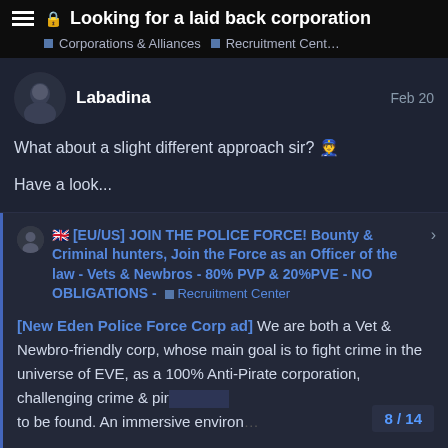🔒 Looking for a laid back corporation
Corporations & Alliances · Recruitment Center
Labadina — Feb 20
What about a slight different approach sir? 👮

Have a look...
🇬🇧 [EU/US] JOIN THE POLICE FORCE! Bounty & Criminal hunters, Join the Force as an Officer of the law - Vets & Newbros - 80% PVP & 20%PVE - NO OBLIGATIONS - Recruitment Center
[New Eden Police Force Corp ad] We are both a Vet & Newbro-friendly corp, whose main goal is to fight crime in the universe of EVE, as a 100% Anti-Pirate corporation, challenging crime & pir... to be found. An immersive environ...
8 / 14